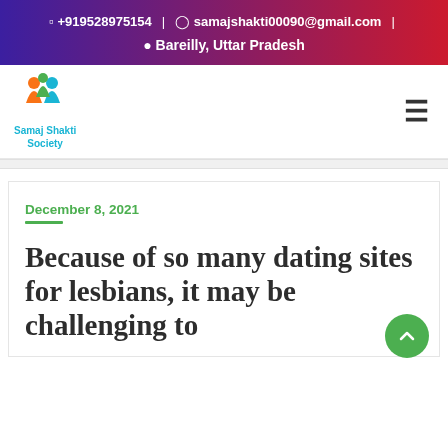📱 +919528975154 | 💬 samajshakti00090@gmail.com | 📍 Bareilly, Uttar Pradesh
[Figure (logo): Samaj Shakti Society logo with colorful figures icon and teal text]
December 8, 2021
Because of so many dating sites for lesbians, it may be challenging to